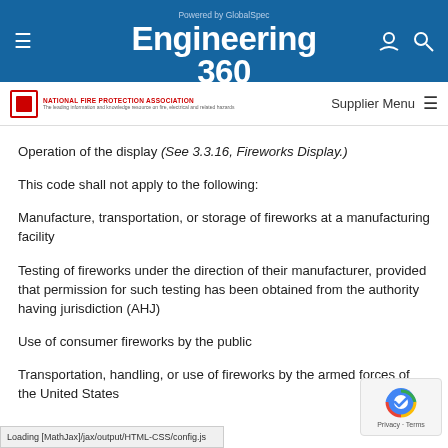Powered by GlobalSpec Engineering 360
NATIONAL FIRE PROTECTION ASSOCIATION — Supplier Menu
Operation of the display (See 3.3.16, Fireworks Display.)
This code shall not apply to the following:
Manufacture, transportation, or storage of fireworks at a manufacturing facility
Testing of fireworks under the direction of their manufacturer, provided that permission for such testing has been obtained from the authority having jurisdiction (AHJ)
Use of consumer fireworks by the public
Transportation, handling, or use of fireworks by the armed forces of the United States
Loading [MathJax]/jax/output/HTML-CSS/config.js